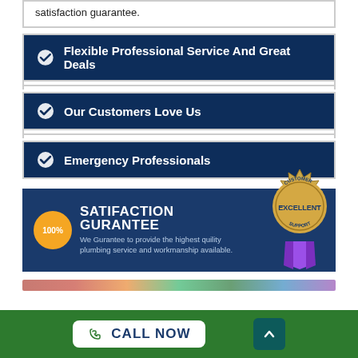satisfaction guarantee.
Flexible Professional Service And Great Deals
Our Customers Love Us
Emergency Professionals
[Figure (infographic): 100% SATIFACTION GURANTEE banner with gold/purple Customer Excellent Support badge. Text: We Gurantee to provide the highest quility plumbing service and workmanship available.]
CALL NOW